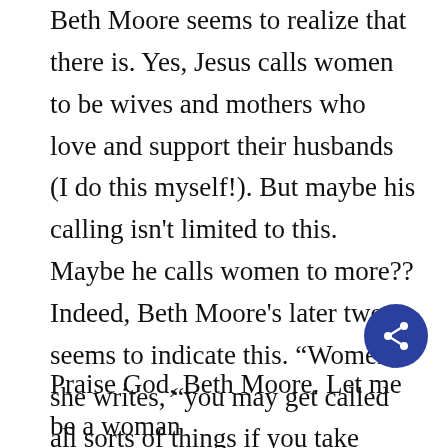Beth Moore seems to realize that there is. Yes, Jesus calls women to be wives and mothers who love and support their husbands (I do this myself!). But maybe his calling isn't limited to this. Maybe he calls women to more?? Indeed, Beth Moore's later tweet seems to indicate this. “Women,” she writes, “you may get called all sorts of things if you take Jesus at His word. Let them call you what they want so long as Christ can call you faithful.”
[Figure (other): Dark blue circular share button with share icon]
Praise God, Beth Moore. Let me be a woman